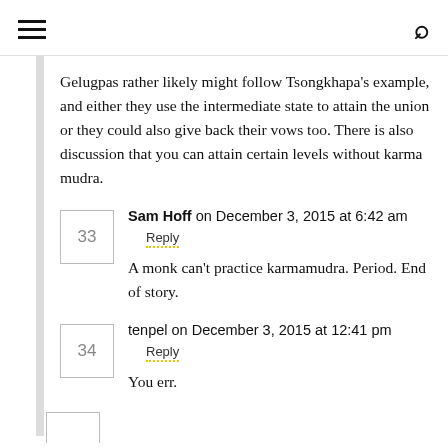≡ [hamburger menu]   [search icon]
Gelugpas rather likely might follow Tsongkhapa's example, and either they use the intermediate state to attain the union or they could also give back their vows too. There is also discussion that you can attain certain levels without karma mudra.
Sam Hoff on December 3, 2015 at 6:42 am
Reply
A monk can't practice karmamudra. Period. End of story.
tenpel on December 3, 2015 at 12:41 pm
Reply
You err.